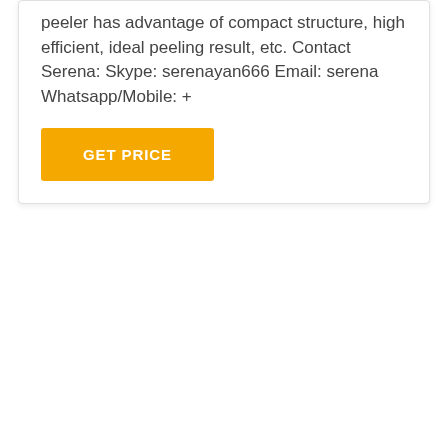peeler has advantage of compact structure, high efficient, ideal peeling result, etc. Contact Serena: Skype: serenayan666 Email: serena Whatsapp/Mobile: +
GET PRICE